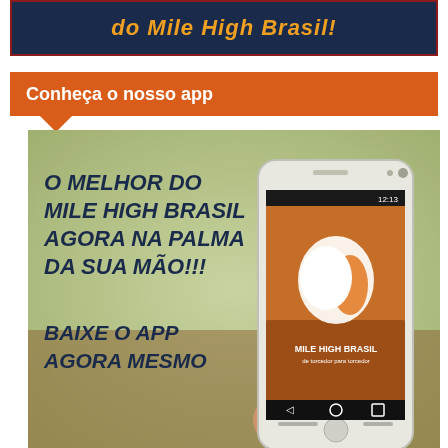[Figure (screenshot): Dark navy banner with orange italic bold text reading 'do Mile High Brasil!']
Conheça o nosso app
[Figure (photo): Promotional image for Mile High Brasil app showing a hand holding a smartphone with the app open displaying the Mile High Brasil horse logo and text. Left side shows bold dark text: 'O MELHOR DO MILE HIGH BRASIL AGORA NA PALMA DA SUA MÃO!!!' and 'BAIXE O APP AGORA MESMO']